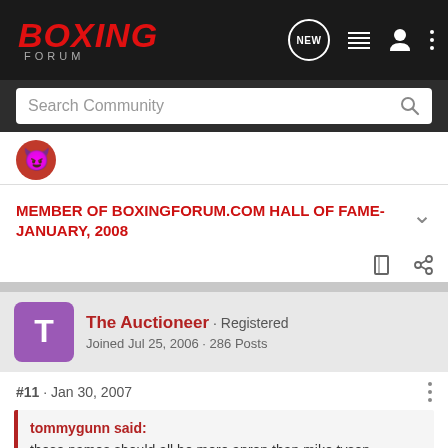BOXING FORUM
Search Community
[Figure (illustration): Small red devil emoji avatar]
MEMBER OF BOXINGFORUM.COM HALL OF FAME-JANUARY, 2008
The Auctioneer · Registered
Joined Jul 25, 2006 · 286 Posts
#11 · Jan 30, 2007
tommygunn said:
these names should all be more aprop than mike tyson.